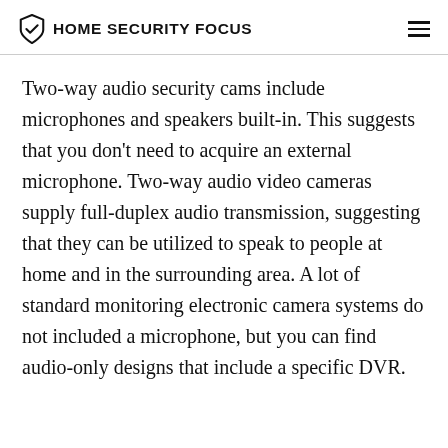HOME SECURITY FOCUS
Two-way audio security cams include microphones and speakers built-in. This suggests that you don't need to acquire an external microphone. Two-way audio video cameras supply full-duplex audio transmission, suggesting that they can be utilized to speak to people at home and in the surrounding area. A lot of standard monitoring electronic camera systems do not included a microphone, but you can find audio-only designs that include a specific DVR.